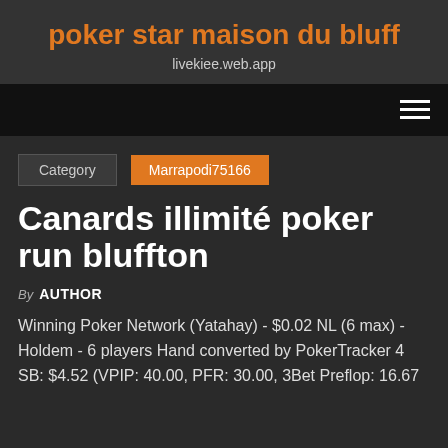poker star maison du bluff
livekiee.web.app
Category  Marrapodi75166
Canards illimité poker run bluffton
By AUTHOR
Winning Poker Network (Yatahay) - $0.02 NL (6 max) - Holdem - 6 players Hand converted by PokerTracker 4 SB: $4.52 (VPIP: 40.00, PFR: 30.00, 3Bet Preflop: 16.67